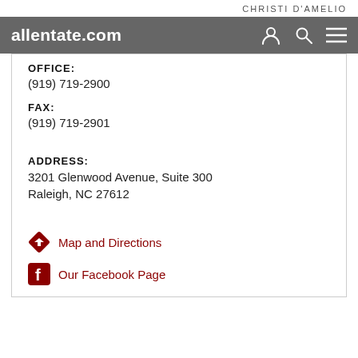CHRISTI D'AMELIO
[Figure (screenshot): allentate.com navigation bar with user, search, and menu icons on dark grey background]
OFFICE:
(919) 719-2900
FAX:
(919) 719-2901
ADDRESS:
3201 Glenwood Avenue, Suite 300
Raleigh, NC 27612
Map and Directions
Our Facebook Page